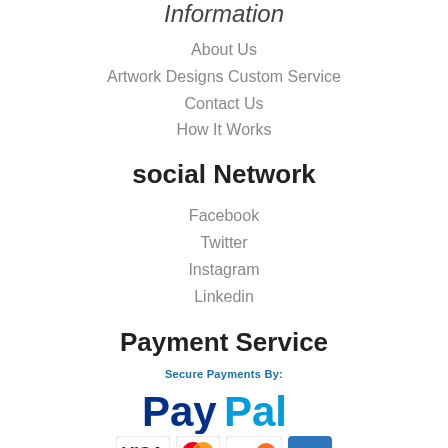Information
About Us
Artwork Designs Custom Service
Contact Us
How It Works
social Network
Facebook
Twitter
Instagram
Linkedin
Payment Service
[Figure (logo): Secure Payments By: PayPal logo with Visa, Mastercard, Discover, and Amex card logos below]